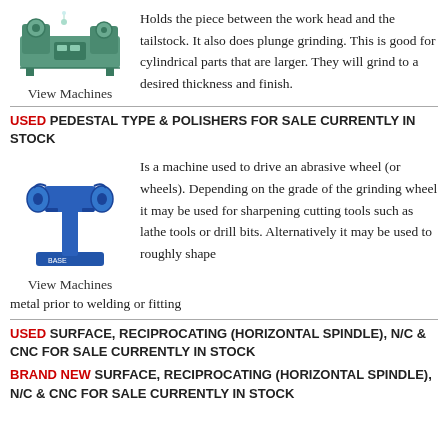[Figure (photo): Green cylindrical grinding machine]
View Machines
Holds the piece between the work head and the tailstock. It also does plunge grinding. This is good for cylindrical parts that are larger. They will grind to a desired thickness and finish.
USED PEDESTAL TYPE & POLISHERS FOR SALE CURRENTLY IN STOCK
[Figure (photo): Blue pedestal grinder/polisher machine]
View Machines
Is a machine used to drive an abrasive wheel (or wheels). Depending on the grade of the grinding wheel it may be used for sharpening cutting tools such as lathe tools or drill bits. Alternatively it may be used to roughly shape metal prior to welding or fitting
USED SURFACE, RECIPROCATING (HORIZONTAL SPINDLE), N/C & CNC FOR SALE CURRENTLY IN STOCK
BRAND NEW SURFACE, RECIPROCATING (HORIZONTAL SPINDLE), N/C & CNC FOR SALE CURRENTLY IN STOCK